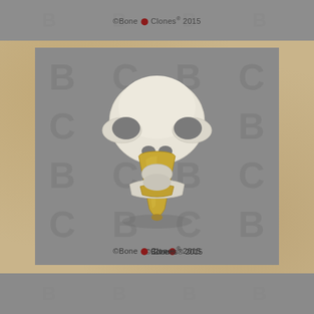©Bone Clones® 2015
[Figure (photo): Front-facing view of a bird skull (eagle or raptor) with a prominent golden-yellow beak/bill. The skull is white/cream colored bone. The image has a gray background with Bone Clones watermark repeated in a grid pattern. Copyright text '©Bone Clones® 2015' appears at the bottom of the image.]
©Bone Clones® 2015